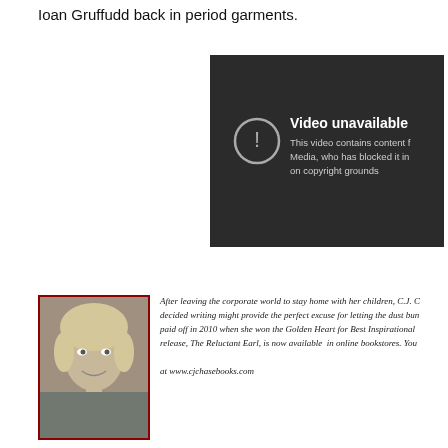Ioan Gruffudd back in period garments.
[Figure (screenshot): Embedded video player showing 'Video unavailable' message. Text reads: 'This video contains content f[rom] Media, who has blocked it in [this country] on copyright grounds']
[Figure (photo): Black and white headshot photo of a blonde woman smiling, the author C.J. Chase]
After leaving the corporate world to stay home with her children, C.J. C[hase] decided writing might provide the perfect excuse for letting the dust bun[nies...] paid off in 2010 when she won the Golden Heart for Best Inspirational [...] release, The Reluctant Earl, is now available in online bookstores. You[...] at www.cjchasebooks.com